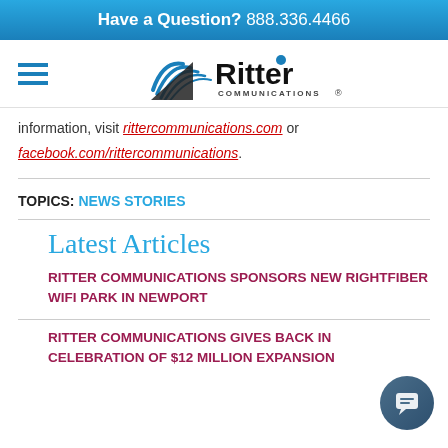Have a Question? 888.336.4466
[Figure (logo): Ritter Communications logo with hamburger menu icon]
information, visit rittercommunications.com or facebook.com/rittercommunications.
TOPICS: NEWS STORIES
Latest Articles
RITTER COMMUNICATIONS SPONSORS NEW RIGHTFIBER WIFI PARK IN NEWPORT
RITTER COMMUNICATIONS GIVES BACK IN CELEBRATION OF $12 MILLION EXPANSION